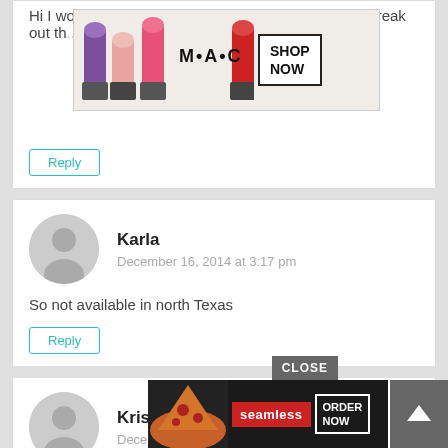Hi I would give to my daughter of course she would freak out th...
[Figure (screenshot): MAC lipstick advertisement banner with lipsticks and SHOP NOW button]
Reply
Karla
December 16, 2014 at 3:17 pm
So not available in north Texas
Reply
Kristi
December 16, 2014 at 3:20 pm
Wouldn't...
Reply
[Figure (screenshot): Seamless food delivery advertisement with pizza photo and ORDER NOW button]
CLOSE